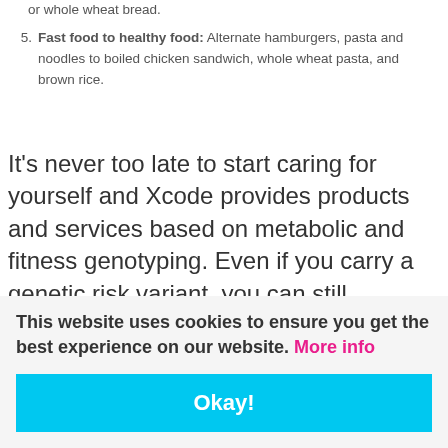or whole wheat bread.
5. Fast food to healthy food: Alternate hamburgers, pasta and noodles to boiled chicken sandwich, whole wheat pasta, and brown rice.
It's never too late to start caring for yourself and Xcode provides products and services based on metabolic and fitness genotyping. Even if you carry a genetic risk variant, you can still minimize your risk by understanding your genetics and choosing the right food and lifestyle options that are compatible
This website uses cookies to ensure you get the best experience on our website. More info
Okay!